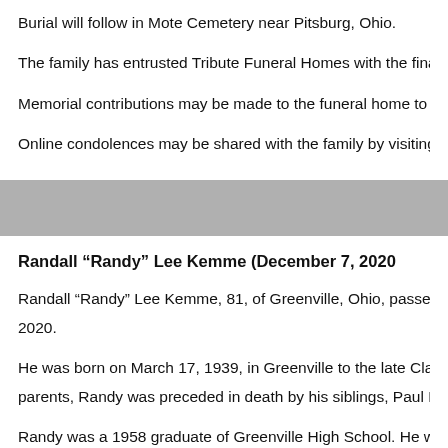Burial will follow in Mote Cemetery near Pitsburg, Ohio.
The family has entrusted Tribute Funeral Homes with the final a…
Memorial contributions may be made to the funeral home to be…
Online condolences may be shared with the family by visiting w…
Randall “Randy” Lee Kemme (December 7, 2020…
Randall “Randy” Lee Kemme, 81, of Greenville, Ohio, passed a… 2020.
He was born on March 17, 1939, in Greenville to the late Clare… parents, Randy was preceded in death by his siblings, Paul Ke…
Randy was a 1958 graduate of Greenville High School. He wor… Randy was a faithful follower of Christ and an active member o… a simple man who enjoyed the outdoors. Randy was active and…